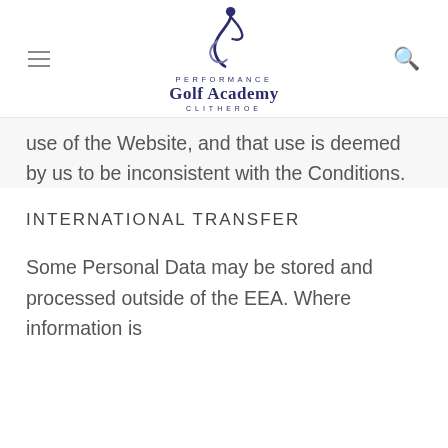Performance Golf Academy Clitheroe
use of the Website, and that use is deemed by us to be inconsistent with the Conditions.
INTERNATIONAL TRANSFER
Some Personal Data may be stored and processed outside of the EEA. Where information is